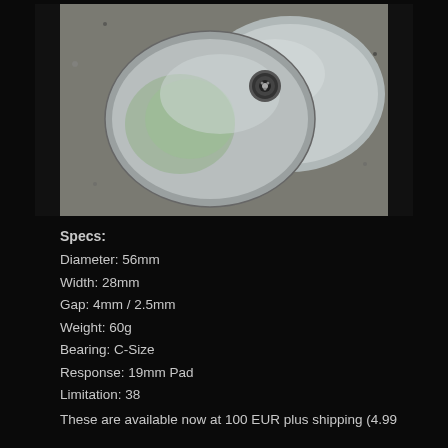[Figure (photo): Two silver/metallic yo-yo halves resting on a granite/concrete surface. The yo-yo is disassembled showing a C-size bearing in the center. The metal finish is matte silver with a smooth dome shape.]
Specs:
Diameter: 56mm
Width: 28mm
Gap: 4mm / 2.5mm
Weight: 60g
Bearing: C-Size
Response: 19mm Pad
Limitation: 38
These are available now at 100 EUR plus shipping (4.99